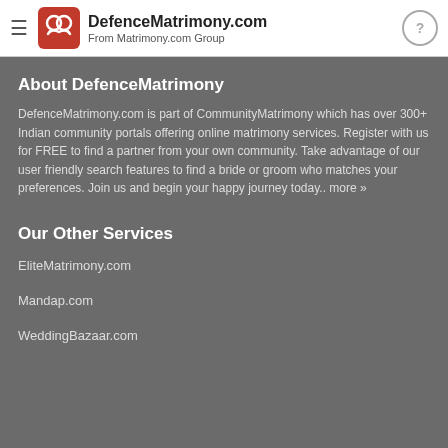DefenceMatrimony.com — From Matrimony.com Group
About DefenceMatrimony
DefenceMatrimony.com is part of CommunityMatrimony which has over 300+ Indian community portals offering online matrimony services. Register with us for FREE to find a partner from your own community. Take advantage of our user friendly search features to find a bride or groom who matches your preferences. Join us and begin your happy journey today.. more »
Our Other Services
EliteMatrimony.com
Mandap.com
WeddingBazaar.com